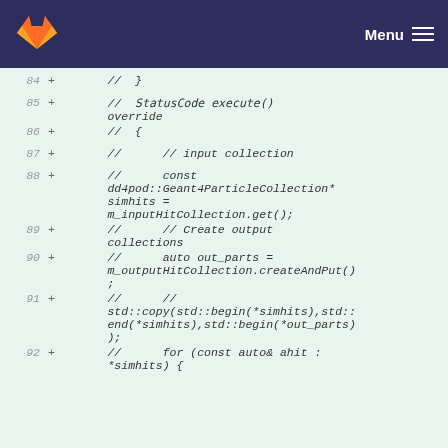GitLab — Menu
84  +      //  }
85  +      //  StatusCode execute() override
86  +      //  {
87  +      //      // input collection
88  +      //      const dd4pod::Geant4ParticleCollection* simhits = m_inputHitCollection.get();
89  +      //      // Create output collections
90  +      //      auto out_parts = m_outputHitCollection.createAndPut();
91  +      //      // std::copy(std::begin(*simhits),std::end(*simhits),std::begin(*out_parts));
92  +      //      for (const auto& ahit : *simhits) {